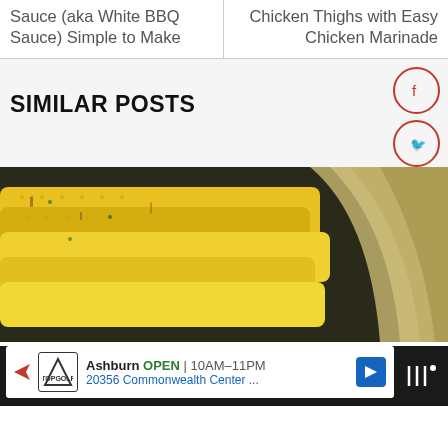Sauce (aka White BBQ Sauce) Simple to Make
Chicken Thighs with Easy Chicken Marinade
SIMILAR POSTS
[Figure (photo): Close-up photo of grilled corn on the cob with char marks and herb garnish, alongside corn husks]
Ashburn OPEN | 10AM–11PM
20356 Commonwealth Center ...